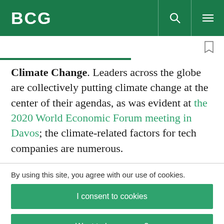BCG
Climate Change. Leaders across the globe are collectively putting climate change at the center of their agendas, as was evident at the 2020 World Economic Forum meeting in Davos; the climate-related factors for tech companies are numerous.
By using this site, you agree with our use of cookies.
I consent to cookies
Want to know more?
Read our Cookie Policy